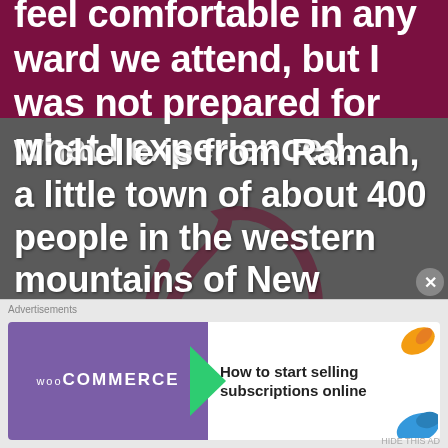similar and we always feel comfortable in any ward we attend, but I was not prepared for what I experienced.
Michelle is from Ramah, a little town of about 400 people in the western mountains of New Mexico. I taught there from 1983 to 1986 when Michelle
[Figure (illustration): Decorative calligraphic brush stroke design in dark maroon/burgundy overlaid on the grey background]
Advertisements
[Figure (other): WooCommerce advertisement banner: purple left panel with WooCommerce logo and green arrow, right panel with orange and blue decorative elements and text 'How to start selling subscriptions online']